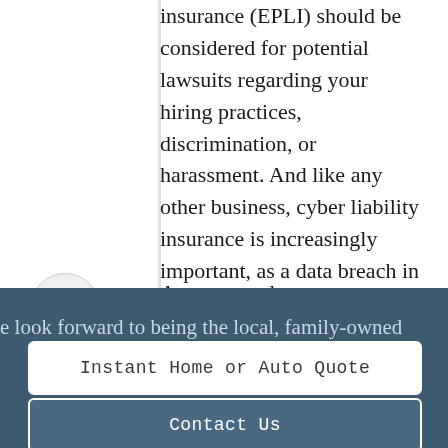insurance (EPLI) should be considered for potential lawsuits regarding your hiring practices, discrimination, or harassment. And like any other business, cyber liability insurance is increasingly important, as a data breach in your systems could expose the personal information of your tenants.
Are you ready to protect your
e look forward to being the local, family-owned
Instant Home or Auto Quote
Contact Us